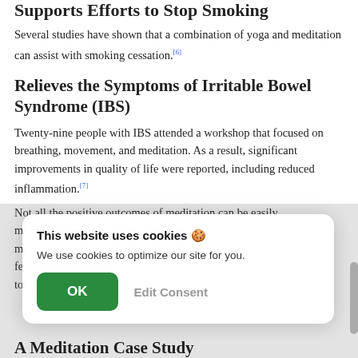Supports Efforts to Stop Smoking
Several studies have shown that a combination of yoga and meditation can assist with smoking cessation.[6]
Relieves the Symptoms of Irritable Bowel Syndrome (IBS)
Twenty-nine people with IBS attended a workshop that focused on breathing, movement, and meditation. As a result, significant improvements in quality of life were reported, including reduced inflammation.[7]
Not all the positive outcomes of meditation can be easily m... m... fe... to...
[Figure (screenshot): Cookie consent popup overlay reading 'This website uses cookies' with OK and Edit Consent buttons]
A Meditation Case Study